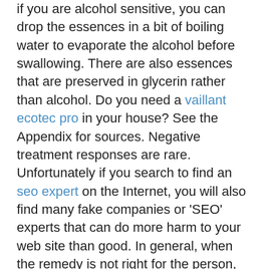if you are alcohol sensitive, you can drop the essences in a bit of boiling water to evaporate the alcohol before swallowing. There are also essences that are preserved in glycerin rather than alcohol. Do you need a vaillant ecotec pro in your house? See the Appendix for sources. Negative treatment responses are rare. Unfortunately if you search to find an seo expert on the Internet, you will also find many fake companies or 'SEO' experts that can do more harm to your web site than good. In general, when the remedy is not right for the person, there is little or no response to the treatment. If there is no change after twenty-eight days, discontinue use and explore another flower essence or blend. Adding Nursery App to the mix can have a real benefit.
Five Alchemical Flower Essences For years I pondered these same things. Having a pr freelancer as an agency gives you the best in public relations, with global capacities collaborating across disciplines and time. I